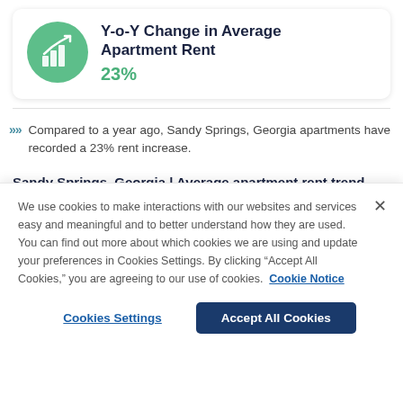Y-o-Y Change in Average Apartment Rent
23%
Compared to a year ago, Sandy Springs, Georgia apartments have recorded a 23% rent increase.
Sandy Springs, Georgia | Average apartment rent trend
We use cookies to make interactions with our websites and services easy and meaningful and to better understand how they are used. You can find out more about which cookies we are using and update your preferences in Cookies Settings. By clicking "Accept All Cookies," you are agreeing to our use of cookies. Cookie Notice
Cookies Settings
Accept All Cookies